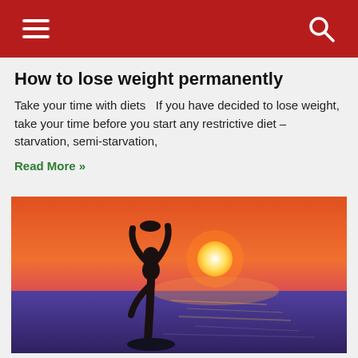Navigation header with hamburger menu and search icon
How to lose weight permanently
Take your time with diets  If you have decided to lose weight, take your time before you start any restrictive diet – starvation, semi-starvation,
Read More »
[Figure (photo): Silhouette of a person in a yoga tree pose against a vibrant orange and pink sunset over the ocean, with shimmering water reflections.]
Ayurveda – Successful treatment of every